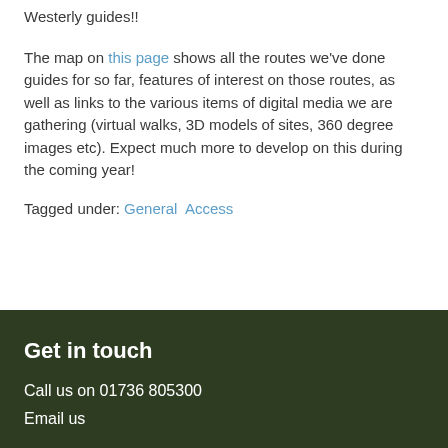Westerly guides!!
The map on this page shows all the routes we've done guides for so far, features of interest on those routes, as well as links to the various items of digital media we are gathering (virtual walks, 3D models of sites, 360 degree images etc). Expect much more to develop on this during the coming year!
Tagged under: General  Access
Get in touch
Call us on 01736 805300
Email us